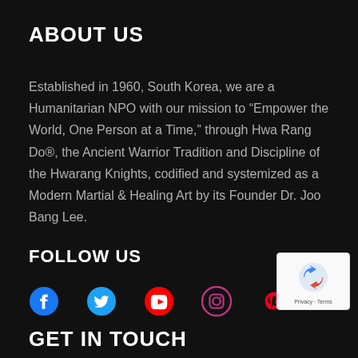ABOUT US
Established in 1960, South Korea, we are a Humanitarian NPO with our mission to “Empower the World, One Person at a Time,” through Hwa Rang Do®, the Ancient Warrior Tradition and Discipline of the Hwarang Knights, codified and systemized as a Modern Martial & Healing Art by its Founder Dr. Joo Bang Lee.
FOLLOW US
[Figure (infographic): Social media icons: Facebook (blue), Twitter (blue), YouTube (red), Instagram (pink/red outline), Pinterest (red)]
[Figure (logo): reCAPTCHA badge with spinning arrows logo and Privacy - Terms text]
GET IN TOUCH